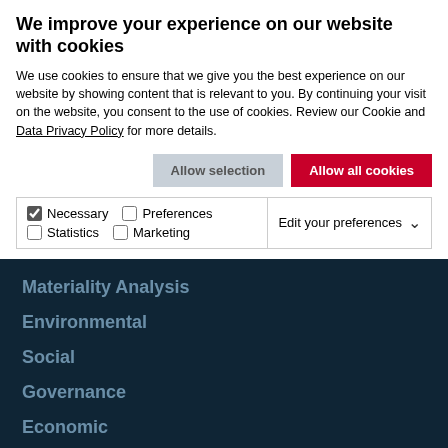We improve your experience on our website with cookies
We use cookies to ensure that we give you the best experience on our website by showing content that is relevant to you. By continuing your visit on the website, you consent to the use of cookies. Review our Cookie and Data Privacy Policy for more details.
Allow selection
Allow all cookies
Necessary | Preferences | Statistics | Marketing | Edit your preferences
Materiality Analysis
Environmental
Social
Governance
Economic
GRI Content Index